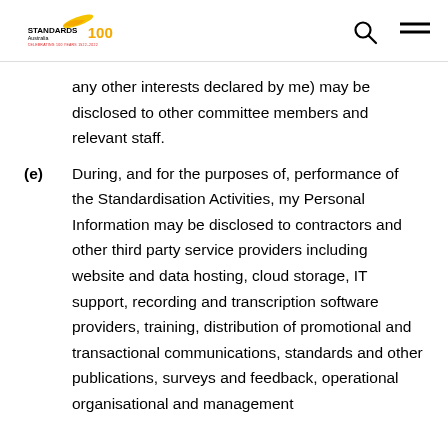Standards Australia 100 — Celebrating 100 Years 1922–2022
any other interests declared by me) may be disclosed to other committee members and relevant staff.
(e) During, and for the purposes of, performance of the Standardisation Activities, my Personal Information may be disclosed to contractors and other third party service providers including website and data hosting, cloud storage, IT support, recording and transcription software providers, training, distribution of promotional and transactional communications, standards and other publications, surveys and feedback, operational organisational and management